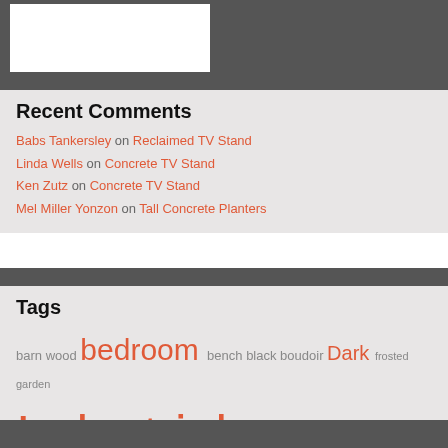[Figure (photo): Dark textured background band at top with a white rectangular box overlay]
Recent Comments
Babs Tankersley on Reclaimed TV Stand
Linda Wells on Concrete TV Stand
Ken Zutz on Concrete TV Stand
Mel Miller Yonzon on Tall Concrete Planters
Tags
barn wood bedroom bench black boudoir Dark frosted garden Industrial kitchen lamp Loft Maple metal Mirror Modern Oak outdoors Pipe planter plywood poplar reclaimed rust shelf stand Steampunk table velvet Wall Sconce Walnut